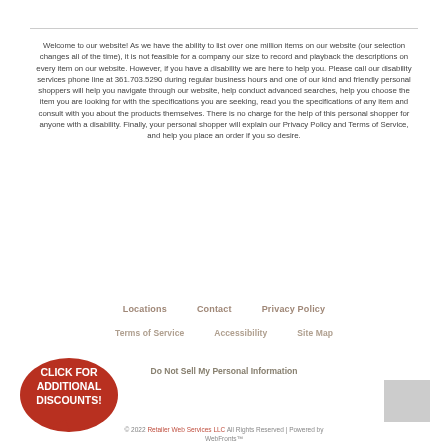Welcome to our website! As we have the ability to list over one million items on our website (our selection changes all of the time), it is not feasible for a company our size to record and playback the descriptions on every item on our website. However, if you have a disability we are here to help you. Please call our disability services phone line at 361.703.5290 during regular business hours and one of our kind and friendly personal shoppers will help you navigate through our website, help conduct advanced searches, help you choose the item you are looking for with the specifications you are seeking, read you the specifications of any item and consult with you about the products themselves. There is no charge for the help of this personal shopper for anyone with a disability. Finally, your personal shopper will explain our Privacy Policy and Terms of Service, and help you place an order if you so desire.
Locations
Contact
Privacy Policy
Terms of Service
Accessibility
Site Map
Do Not Sell My Personal Information
[Figure (infographic): Red speech-bubble badge with white bold text: CLICK FOR ADDITIONAL DISCOUNTS!]
© 2022 Retailer Web Services LLC All Rights Reserved | Powered by WebFronts™